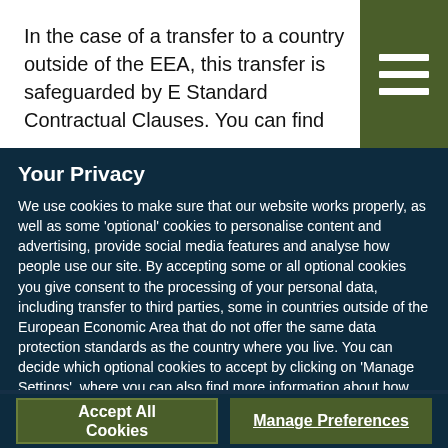In the case of a transfer to a country outside of the EEA, this transfer is safeguarded by EU Standard Contractual Clauses. You can find
Your Privacy
We use cookies to make sure that our website works properly, as well as some 'optional' cookies to personalise content and advertising, provide social media features and analyse how people use our site. By accepting some or all optional cookies you give consent to the processing of your personal data, including transfer to third parties, some in countries outside of the European Economic Area that do not offer the same data protection standards as the country where you live. You can decide which optional cookies to accept by clicking on 'Manage Settings', where you can also find more information about how your personal data is processed. Further information can be found in our privacy policy.
Accept All Cookies
Manage Preferences